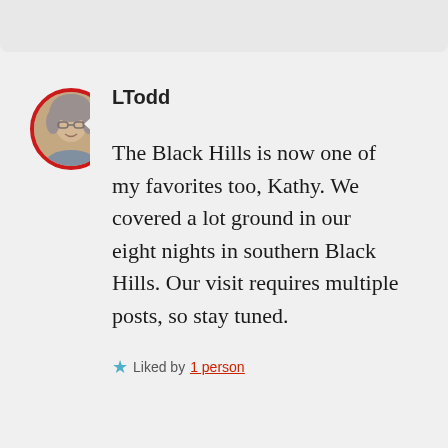[Figure (photo): Circular avatar photo of a woman with grey hair, framed by a red circle border]
LTodd
The Black Hills is now one of my favorites too, Kathy. We covered a lot ground in our eight nights in southern Black Hills. Our visit requires multiple posts, so stay tuned.
★ Liked by 1 person